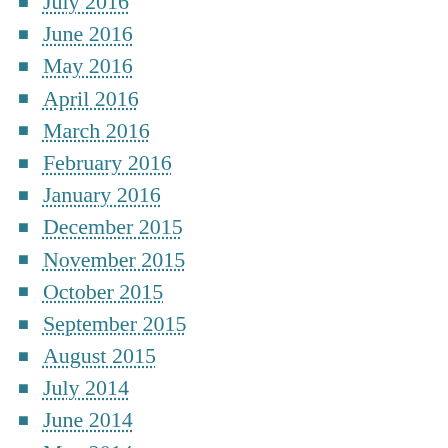July 2016
June 2016
May 2016
April 2016
March 2016
February 2016
January 2016
December 2015
November 2015
October 2015
September 2015
August 2015
July 2014
June 2014
May 2014
April 2014
March 2014